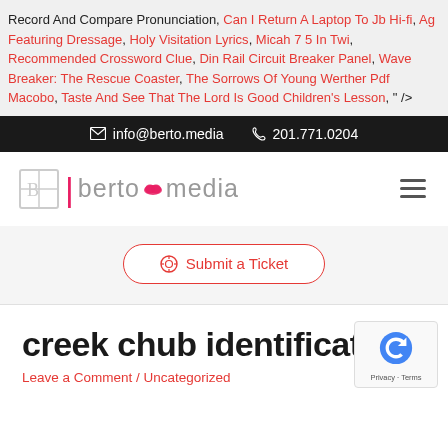Record And Compare Pronunciation, Can I Return A Laptop To Jb Hi-fi, Ag Featuring Dressage, Holy Visitation Lyrics, Micah 7 5 In Twi, Recommended Crossword Clue, Din Rail Circuit Breaker Panel, Wave Breaker: The Rescue Coaster, The Sorrows Of Young Werther Pdf Macobo, Taste And See That The Lord Is Good Children's Lesson, " />
info@berto.media  201.771.0204
[Figure (logo): Berto Media logo with grid icon, pink divider, cloud symbol, and gray text]
Submit a Ticket
creek chub identification
Leave a Comment / Uncategorized